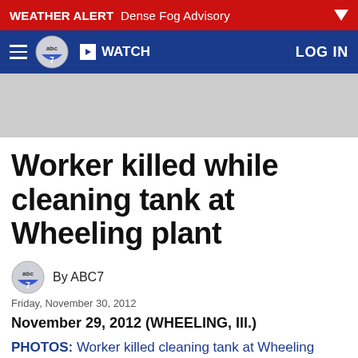WEATHER ALERT Dense Fog Advisory
[Figure (screenshot): ABC7 navigation bar with hamburger menu, ABC7 logo, WATCH button, and LOG IN link on dark blue background]
[Figure (other): Gray advertisement placeholder box]
Worker killed while cleaning tank at Wheeling plant
By ABC7
Friday, November 30, 2012
November 29, 2012 (WHEELING, Ill.)
PHOTOS: Worker killed cleaning tank at Wheeling